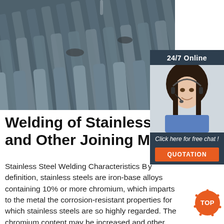[Figure (photo): Bundle of steel rods/rebar stacked horizontally, industrial setting, dark grey metallic rods tied with wire]
[Figure (infographic): Chat widget sidebar showing '24/7 Online', customer service representative with headset, 'Click here for free chat!' text, and orange QUOTATION button]
Welding of Stainless Steel and Other Joining Methods
Stainless Steel Welding Characteristics By definition, stainless steels are iron-base alloys containing 10% or more chromium, which imparts to the metal the corrosion-resistant properties for which stainless steels are so highly regarded. The chromium content may be increased and other alloying elements added or adjusted to meet
[Figure (other): Orange circular TOP navigation button with dotted border]